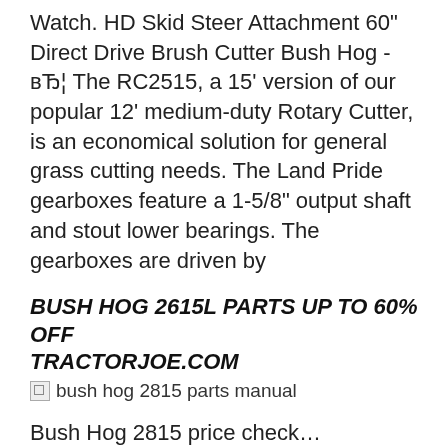Watch. HD Skid Steer Attachment 60" Direct Drive Brush Cutter Bush Hog - вЂ¦ The RC2515, a 15' version of our popular 12' medium-duty Rotary Cutter, is an economical solution for general grass cutting needs. The Land Pride gearboxes feature a 1-5/8" output shaft and stout lower bearings. The gearboxes are driven by
BUSH HOG 2615L PARTS UP TO 60% OFF TRACTORJOE.COM
[Figure (photo): Broken image placeholder with alt text: bush hog 2815 parts manual]
Bush Hog 2815 price check… TractorByNet. Bush Hog 2815 Bush Hog for auction. Home and Barns on Approximately 68 Acres Live Auction 5778 Rt. 166, Creal Springs, IL Seller: Jeff Doss May 20, 2017 Saturday 10:00 AM Approximately 68 acres